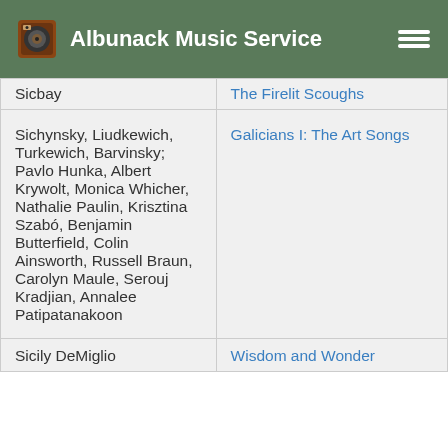Albunack Music Service
| Artist | Album |
| --- | --- |
| Sicbay | The Firelit Scoughs |
| Sichynsky, Liudkewich, Turkewich, Barvinsky; Pavlo Hunka, Albert Krywolt, Monica Whicher, Nathalie Paulin, Krisztina Szabó, Benjamin Butterfield, Colin Ainsworth, Russell Braun, Carolyn Maule, Serouj Kradjian, Annalee Patipatanakoon | Galicians I: The Art Songs |
| Sicily DeMiglio | Wisdom and Wonder |